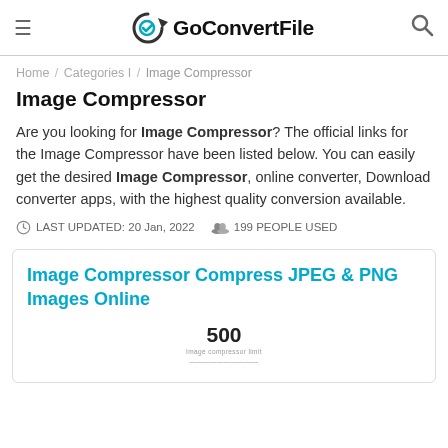GoConvertFile
Home / Categories I / Image Compressor
Image Compressor
Are you looking for Image Compressor? The official links for the Image Compressor have been listed below. You can easily get the desired Image Compressor, online converter, Download converter apps, with the highest quality conversion available.
LAST UPDATED: 20 Jan, 2022   199 PEOPLE USED
Image Compressor Compress JPEG & PNG Images Online
[Figure (screenshot): Card showing '500' with label text below — partial screenshot of image compressor tool interface]